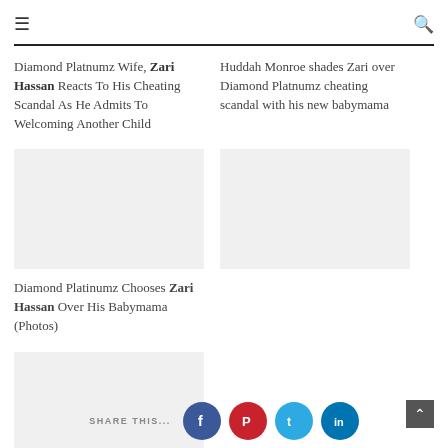≡  🔍
Diamond Platnumz Wife, Zari Hassan Reacts To His Cheating Scandal As He Admits To Welcoming Another Child
Huddah Monroe shades Zari over Diamond Platnumz cheating scandal with his new babymama
Diamond Platinumz Chooses Zari Hassan Over His Babymama (Photos)
SHARE THIS...